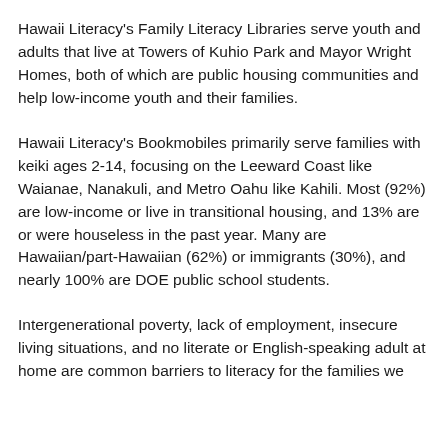Hawaii Literacy's Family Literacy Libraries serve youth and adults that live at Towers of Kuhio Park and Mayor Wright Homes, both of which are public housing communities and help low-income youth and their families.
Hawaii Literacy's Bookmobiles primarily serve families with keiki ages 2-14, focusing on the Leeward Coast like Waianae, Nanakuli, and Metro Oahu like Kahili. Most (92%) are low-income or live in transitional housing, and 13% are or were houseless in the past year. Many are Hawaiian/part-Hawaiian (62%) or immigrants (30%), and nearly 100% are DOE public school students.
Intergenerational poverty, lack of employment, insecure living situations, and no literate or English-speaking adult at home are common barriers to literacy for the families we